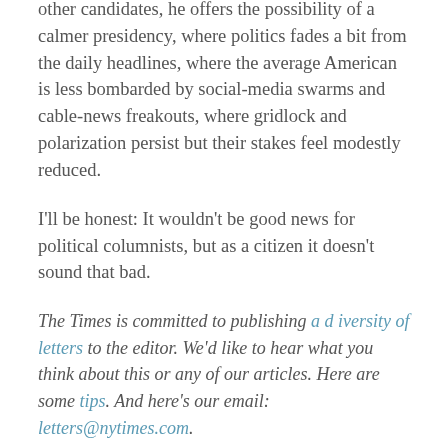other candidates, he offers the possibility of a calmer presidency, where politics fades a bit from the daily headlines, where the average American is less bombarded by social-media swarms and cable-news freakouts, where gridlock and polarization persist but their stakes feel modestly reduced.
I'll be honest: It wouldn't be good news for political columnists, but as a citizen it doesn't sound that bad.
The Times is committed to publishing a diversity of letters to the editor. We'd like to hear what you think about this or any of our articles. Here are some tips. And here's our email: letters@nytimes.com.
Follow The New York Times Opinion section on Facebook, Twitter (@NYTOpin...